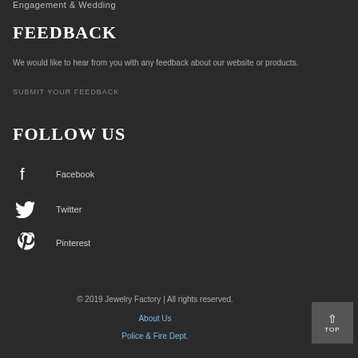Engagement & Wedding
FEEDBACK
We would like to hear from you with any feedback about our website or products.
SUBMIT YOUR FEEDBACK
FOLLOW US
Facebook
Twitter
Pinterest
© 2019 Jewelry Factory | All rights reserved.
About Us
Police & Fire Dept.